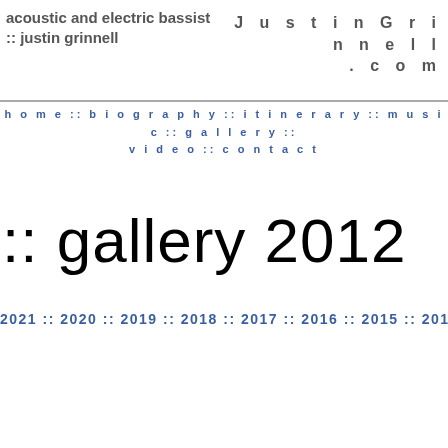acoustic and electric bassist :: justin grinnell
JustinGrinnell.com
home :: biography :: itinerary :: music :: gallery :: video :: contact
:: gallery 2012
2021 :: 2020 :: 2019 :: 2018 :: 2017 :: 2016 :: 2015 :: 2014 :: 2013 :: 2012